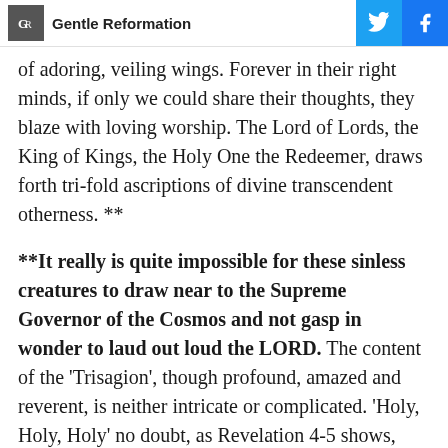Gentle Reformation
of adoring, veiling wings. Forever in their right minds, if only we could share their thoughts, they blaze with loving worship. The Lord of Lords, the King of Kings, the Holy One the Redeemer, draws forth tri-fold ascriptions of divine transcendent otherness. **
**It really is quite impossible for these sinless creatures to draw near to the Supreme Governor of the Cosmos and not gasp in wonder to laud out loud the LORD. The content of the 'Trisagion', though profound, amazed and reverent, is neither intricate or complicated. 'Holy, Holy, Holy' no doubt, as Revelation 4-5 shows, ascribes to all Three Persons,